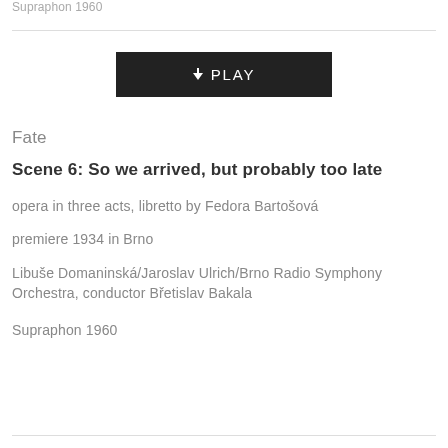Supraphon 1960
[Figure (other): Dark rectangular PLAY button with download/arrow icon and PLAY label in white text on black background]
Fate
Scene 6: So we arrived, but probably too late
opera in three acts, libretto by Fedora Bartošová
premiere 1934 in Brno
Libuše Domaninská/Jaroslav Ulrich/Brno Radio Symphony Orchestra, conductor Břetislav Bakala
Supraphon 1960